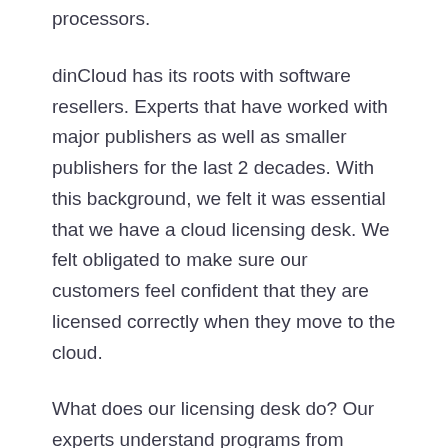processors.
dinCloud has its roots with software resellers. Experts that have worked with major publishers as well as smaller publishers for the last 2 decades. With this background, we felt it was essential that we have a cloud licensing desk. We felt obligated to make sure our customers feel confident that they are licensed correctly when they move to the cloud.
What does our licensing desk do? Our experts understand programs from Microsoft, Adobe, and smaller publishers – so they can evaluate which program is the best fit for our customer when they select dinCloud services. Sometimes perpetual licenses continue to make sense. Other times it may be a